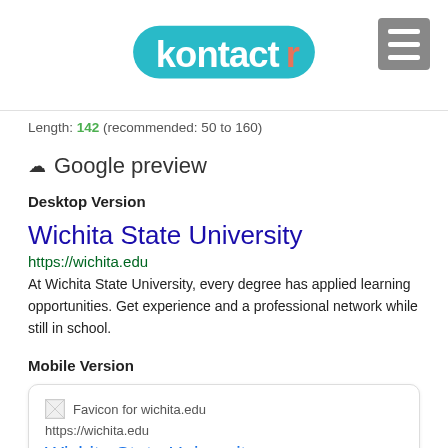[Figure (logo): Kontactr logo — teal bubble with 'kontactr' text, the letter r in orange]
Length: 142 (recommended: 50 to 160)
☁ Google preview
Desktop Version
Wichita State University
https://wichita.edu
At Wichita State University, every degree has applied learning opportunities. Get experience and a professional network while still in school.
Mobile Version
[Figure (screenshot): Mobile Google SERP card showing Favicon for wichita.edu, URL https://wichita.edu, title Wichita State University, and description starting 'At Wichita State University, every']